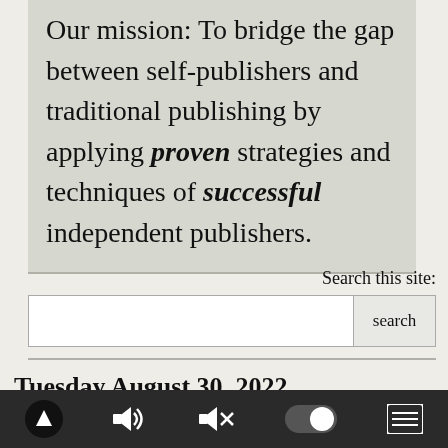Our mission: To bridge the gap between self-publishers and traditional publishing by applying proven strategies and techniques of successful independent publishers.
Search this site:
Tuesday August 30, 2022